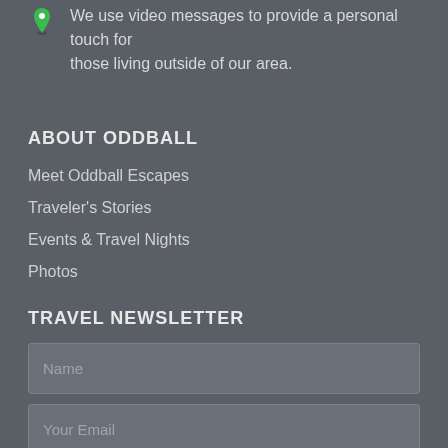We are located in northeast Ohio.
We use video messages to provide a personal touch for those living outside of our area.
ABOUT ODDBALL
Meet Oddball Escapes
Traveler's Stories
Events & Travel Nights
Photos
TRAVEL NEWSLETTER
Name
Your Email